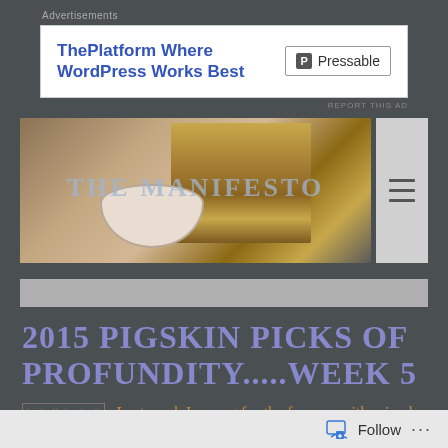Advertisements
[Figure (screenshot): Advertisement banner for Pressable: 'ThePlatform Where WordPress Works Best' with Pressable logo]
[Figure (photo): Blog header image showing stacked books and coffee cup with overlaid text 'THE MANIFESTO' in faded blue letters, with hamburger menu icon on right]
2015 PIGSKIN PICKS OF PROFUNDITY.....WEEK 5
[Figure (other): Image placeholder labeled kickoff_football]
Last week I swung for the fences...with mixed results.
Follow